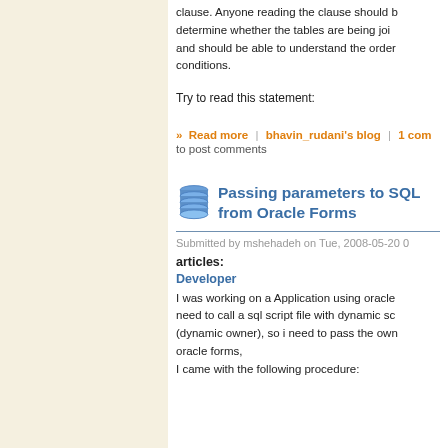clause. Anyone reading the clause should be able to determine whether the tables are being joined and should be able to understand the order of conditions.
Try to read this statement:
» Read more | bhavin_rudani's blog | 1 com... to post comments
Passing parameters to SQL from Oracle Forms
Submitted by mshehadeh on Tue, 2008-05-20 0...
articles:
Developer
I was working on a Application using oracle need to call a sql script file with dynamic sc... (dynamic owner), so i need to pass the own... oracle forms, I came with the following procedure: